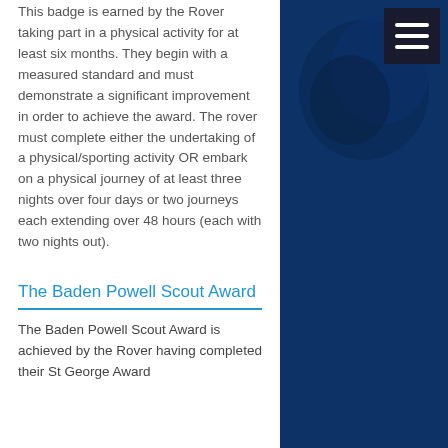This badge is earned by the Rover taking part in a physical activity for at least six months. They begin with a measured standard and must demonstrate a significant improvement in order to achieve the award. The rover must complete either the undertaking of a physical/sporting activity OR embark on a physical journey of at least three nights over four days or two journeys each extending over 48 hours (each with two nights out).
The Baden Powell Scout Award
The Baden Powell Scout Award is achieved by the Rover having completed their St George Award
[Figure (photo): Dark blue background panel on right side with partially visible Scout-related imagery and a hamburger menu icon in the top right corner.]